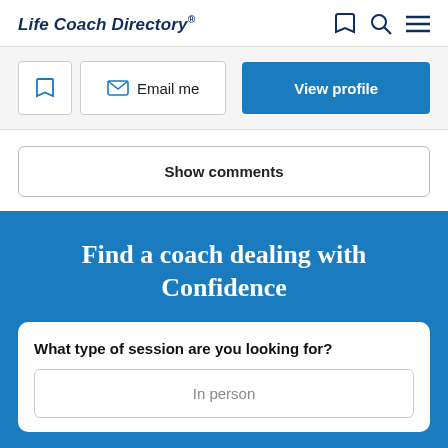Life Coach Directory
[Figure (screenshot): Action bar with bookmark icon button, Email me button with envelope icon, and View profile blue button]
Show comments
Find a coach dealing with Confidence
What type of session are you looking for?
In person